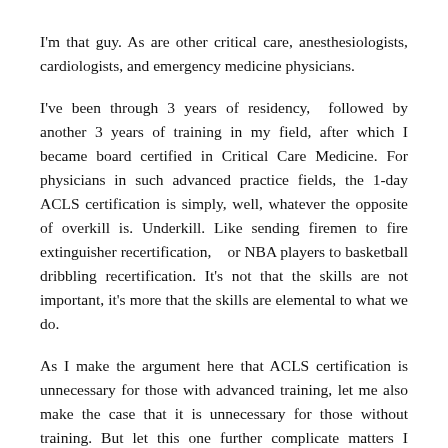I'm that guy. As are other critical care, anesthesiologists, cardiologists, and emergency medicine physicians.
I've been through 3 years of residency, followed by another 3 years of training in my field, after which I became board certified in Critical Care Medicine. For physicians in such advanced practice fields, the 1-day ACLS certification is simply, well, whatever the opposite of overkill is. Underkill. Like sending firemen to fire extinguisher recertification, or NBA players to basketball dribbling recertification. It's not that the skills are not important, it's more that the skills are elemental to what we do.
As I make the argument here that ACLS certification is unnecessary for those with advanced training, let me also make the case that it is unnecessary for those without training. But let this one further complicate matters I should also...